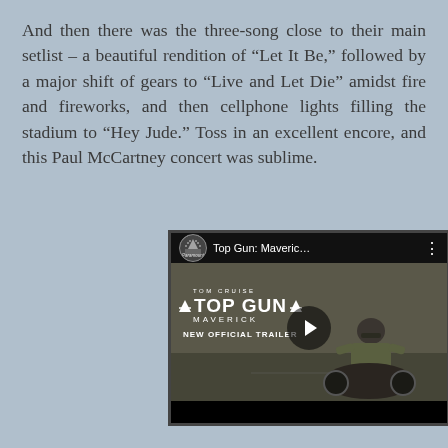And then there was the three-song close to their main setlist – a beautiful rendition of “Let It Be,” followed by a major shift of gears to “Live and Let Die” amidst fire and fireworks, and then cellphone lights filling the stadium to “Hey Jude.” Toss in an excellent encore, and this Paul McCartney concert was sublime.
[Figure (screenshot): Embedded YouTube video thumbnail for Top Gun: Maverick official trailer, showing Tom Cruise on a motorcycle with Top Gun: Maverick logo overlay and a play button in the center.]